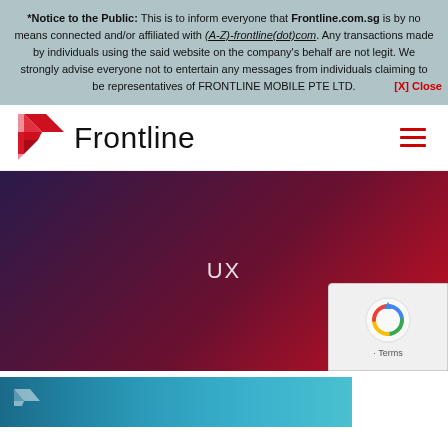*Notice to the Public: This is to inform everyone that Frontline.com.sg is by no means connected and/or affiliated with (A-Z)-frontline(dot)com. Any transactions made by individuals using the said website on the company's behalf are not legit. We strongly advise everyone not to entertain any messages from individuals claiming to be representatives of FRONTLINE MOBILE PTE LTD.
[Figure (logo): Frontline logo with red F chevron icon and Frontline wordmark in black, plus hamburger menu icon in red on the right]
[Figure (photo): Dark gradient hero banner with purple-to-red gradient background, containing the text 'UX' in white in the center]
[Figure (screenshot): reCAPTCHA widget with Google logo and Terms text]
[Figure (photo): Bottom strip showing a partial Frontline branded image with blue/teal background]